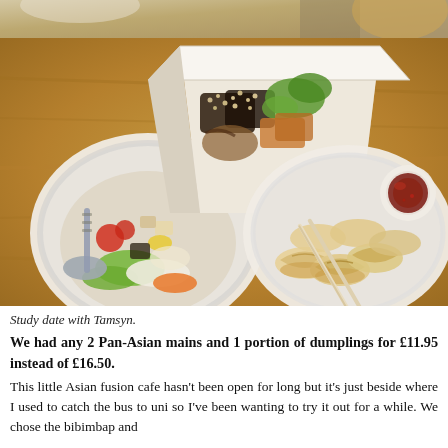[Figure (photo): Partial view of a top photo showing a table setting, slightly cropped at top]
[Figure (photo): Overhead photo of Asian food on a wooden table: a bowl of bibimbap with vegetables and spoon, a takeout box with food topped with sesame seeds, and a white plate of dumplings/gyoza with chopsticks and a small bowl of dipping sauce]
Study date with Tamsyn.
We had any 2 Pan-Asian mains and 1 portion of dumplings for £11.95 instead of £16.50.
This little Asian fusion cafe hasn't been open for long but it's just beside where I used to catch the bus to uni so I've been wanting to try it out for a while. We chose the bibimbap and